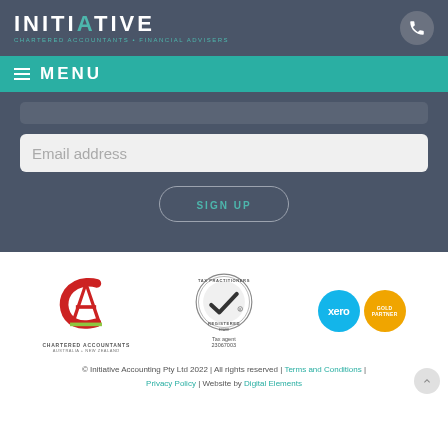INITIATIVE CHARTERED ACCOUNTANTS • FINANCIAL ADVISERS
≡ MENU
Email address
SIGN UP
[Figure (logo): Chartered Accountants Australia + New Zealand logo with red CA symbol]
[Figure (logo): Tax Practitioners Board Registered seal - Tax agent 23067003]
[Figure (logo): Xero and Gold Partner logos]
© Initiative Accounting Pty Ltd 2022 | All rights reserved | Terms and Conditions | Privacy Policy | Website by Digital Elements